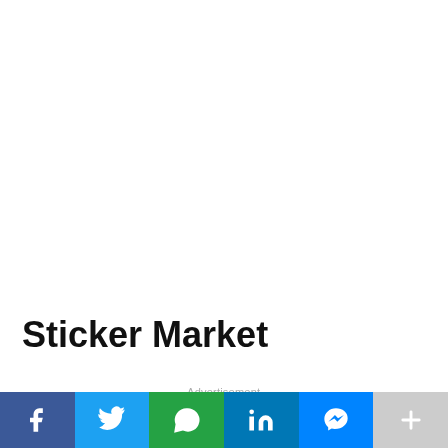Sticker Market
- Advertisement -
[Figure (infographic): Social media share buttons bar: Facebook (dark blue), Twitter (light blue), WhatsApp (green), LinkedIn (blue), Messenger (bright blue), More/plus (grey)]